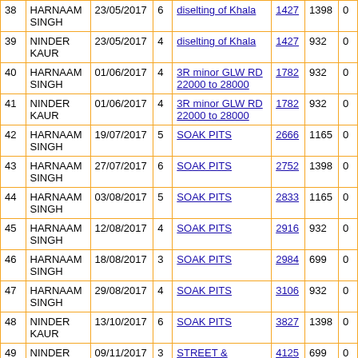| # | Name | Date | Col4 | Description | Num1 | Num2 | Num3 |
| --- | --- | --- | --- | --- | --- | --- | --- |
| 38 | HARNAAM SINGH | 23/05/2017 | 6 | diselting of Khala | 1427 | 1398 | 0 |
| 39 | NINDER KAUR | 23/05/2017 | 4 | diselting of Khala | 1427 | 932 | 0 |
| 40 | HARNAAM SINGH | 01/06/2017 | 4 | 3R minor GLW RD 22000 to 28000 | 1782 | 932 | 0 |
| 41 | NINDER KAUR | 01/06/2017 | 4 | 3R minor GLW RD 22000 to 28000 | 1782 | 932 | 0 |
| 42 | HARNAAM SINGH | 19/07/2017 | 5 | SOAK PITS | 2666 | 1165 | 0 |
| 43 | HARNAAM SINGH | 27/07/2017 | 6 | SOAK PITS | 2752 | 1398 | 0 |
| 44 | HARNAAM SINGH | 03/08/2017 | 5 | SOAK PITS | 2833 | 1165 | 0 |
| 45 | HARNAAM SINGH | 12/08/2017 | 4 | SOAK PITS | 2916 | 932 | 0 |
| 46 | HARNAAM SINGH | 18/08/2017 | 3 | SOAK PITS | 2984 | 699 | 0 |
| 47 | HARNAAM SINGH | 29/08/2017 | 4 | SOAK PITS | 3106 | 932 | 0 |
| 48 | NINDER KAUR | 13/10/2017 | 6 | SOAK PITS | 3827 | 1398 | 0 |
| 49 | NINDER | 09/11/2017 | 3 | STREET & DRAINS (INTERLOCKING | 4125 | 699 | 0 |